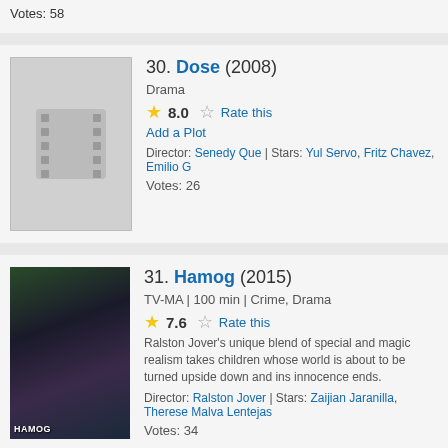Votes: 58
30. Dose (2008)
Drama
8.0  Rate this
Add a Plot
Director: Senedy Que | Stars: Yul Servo, Fritz Chavez, Emilio G
Votes: 26
31. Hamog (2015)
TV-MA | 100 min | Crime, Drama
7.6  Rate this
Ralston Jover's unique blend of special and magic realism takes children whose world is about to be turned upside down and innocence ends.
Director: Ralston Jover | Stars: Zaijian Jaranilla, Therese Malva Lentejas
Votes: 34